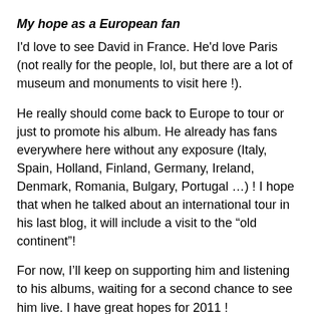My hope as a European fan
I'd love to see David in France. He'd love Paris (not really for the people, lol, but there are a lot of museum and monuments to visit here !).
He really should come back to Europe to tour or just to promote his album. He already has fans everywhere here without any exposure (Italy, Spain, Holland, Finland, Germany, Ireland, Denmark, Romania, Bulgary, Portugal …) ! I hope that when he talked about an international tour in his last blog, it will include a visit to the “old continent”!
For now, I’ll keep on supporting him and listening to his albums, waiting for a second chance to see him live. I have great hopes for 2011 !
— Zami